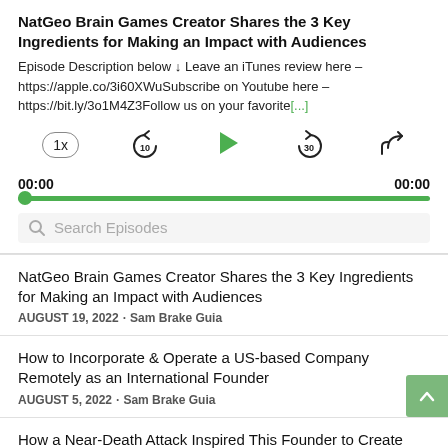NatGeo Brain Games Creator Shares the 3 Key Ingredients for Making an Impact with Audiences
Episode Description below ↓ Leave an iTunes review here – https://apple.co/3i60XWuSubscribe on Youtube here – https://bit.ly/3o1M4Z3Follow us on your favorite[...]
[Figure (screenshot): Podcast player controls: speed button (1x), rewind 10s, play button (green triangle), forward 30s, share button]
00:00   00:00
[Figure (other): Audio progress bar, fully filled green with green circle at left end]
Search Episodes
NatGeo Brain Games Creator Shares the 3 Key Ingredients for Making an Impact with Audiences
AUGUST 19, 2022 · Sam Brake Guia
How to Incorporate & Operate a US-based Company Remotely as an International Founder
AUGUST 5, 2022 · Sam Brake Guia
How a Near-Death Attack Inspired This Founder to Create